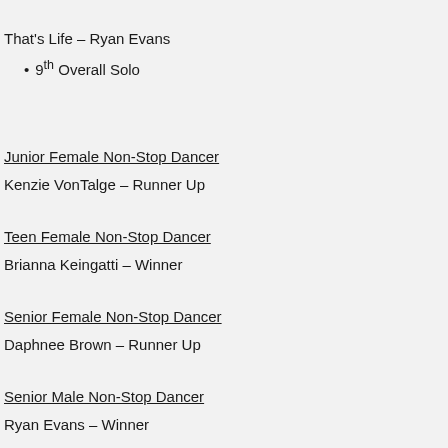That's Life – Ryan Evans
9th Overall Solo
Junior Female Non-Stop Dancer
Kenzie VonTalge – Runner Up
Teen Female Non-Stop Dancer
Brianna Keingatti – Winner
Senior Female Non-Stop Dancer
Daphnee Brown – Runner Up
Senior Male Non-Stop Dancer
Ryan Evans – Winner